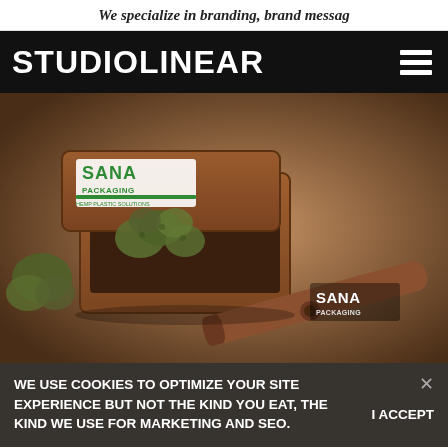We specialize in branding, brand messag
STUDIOLINEAR
[Figure (photo): Product photo of a brown SANA Packaging sliding box container with cannabis buds spilling out, and a branded rolling accessory on burlap fabric background. Two SANA Packaging logos visible.]
WE USE COOKIES TO OPTIMIZE YOUR SITE EXPERIENCE BUT NOT THE KIND YOU EAT, THE KIND WE USE FOR MARKETING AND SEO.